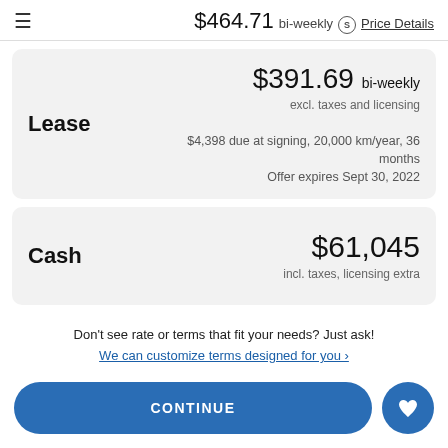$464.71 bi-weekly S Price Details
$391.69 bi-weekly
excl. taxes and licensing
$4,398 due at signing, 20,000 km/year, 36 months
Offer expires Sept 30, 2022
Lease
$61,045
incl. taxes, licensing extra
Cash
Don't see rate or terms that fit your needs? Just ask!
We can customize terms designed for you ›
CONTINUE